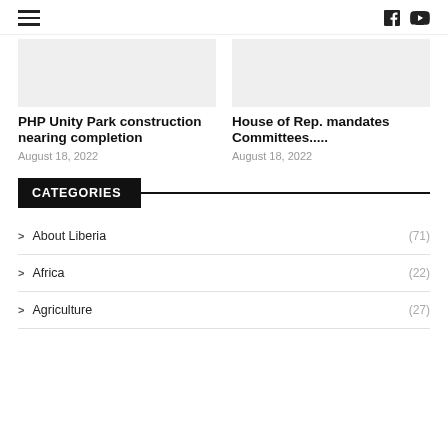≡  f  YouTube
[Figure (photo): Grey placeholder image for PHP Unity Park article]
PHP Unity Park construction nearing completion
August 18, 2022
[Figure (photo): Grey placeholder image for House of Rep. mandates Committees article]
House of Rep. mandates Committees.....
August 18, 2022
CATEGORIES
> About Liberia (71)
> Africa (22)
> Agriculture (27)